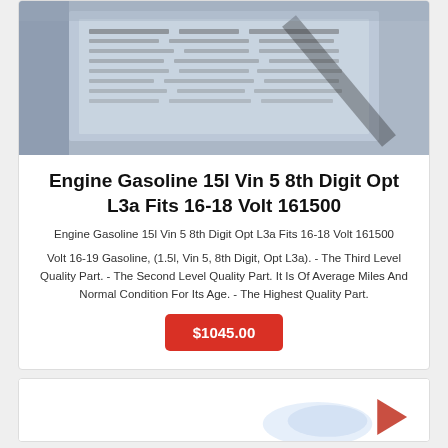[Figure (photo): Photograph of a product label or data plate with printed text/numbers, appears to be a car engine part label]
Engine Gasoline 15l Vin 5 8th Digit Opt L3a Fits 16-18 Volt 161500
Engine Gasoline 15l Vin 5 8th Digit Opt L3a Fits 16-18 Volt 161500
Volt 16-19 Gasoline, (1.5l, Vin 5, 8th Digit, Opt L3a). - The Third Level Quality Part. - The Second Level Quality Part. It Is Of Average Miles And Normal Condition For Its Age. - The Highest Quality Part.
$1045.00
[Figure (photo): Partial view of another product listing below]